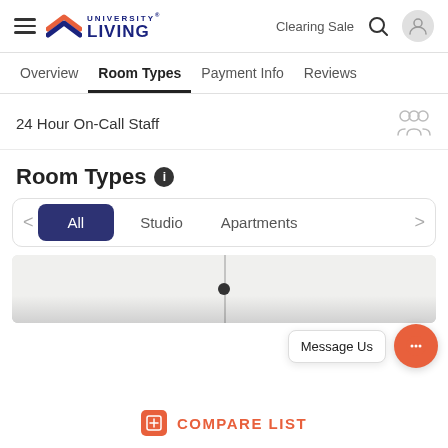University Living — Clearing Sale
Overview  Room Types  Payment Info  Reviews
24 Hour On-Call Staff
Room Types
All  Studio  Apartments
[Figure (screenshot): Room image strip partially visible at bottom of filter panel]
Message Us
COMPARE LIST